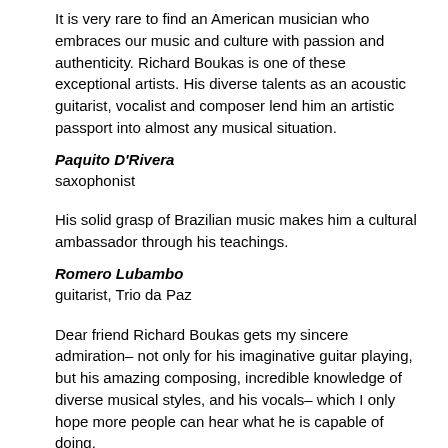It is very rare to find an American musician who embraces our music and culture with passion and authenticity. Richard Boukas is one of these exceptional artists. His diverse talents as an acoustic guitarist, vocalist and composer lend him an artistic passport into almost any musical situation.
Paquito D'Rivera
saxophonist
His solid grasp of Brazilian music makes him a cultural ambassador through his teachings.
Romero Lubambo
guitarist, Trio da Paz
Dear friend Richard Boukas gets my sincere admiration– not only for his imaginative guitar playing, but his amazing composing, incredible knowledge of diverse musical styles, and his vocals– which I only hope more people can hear what he is capable of doing.
Jack Wilkins